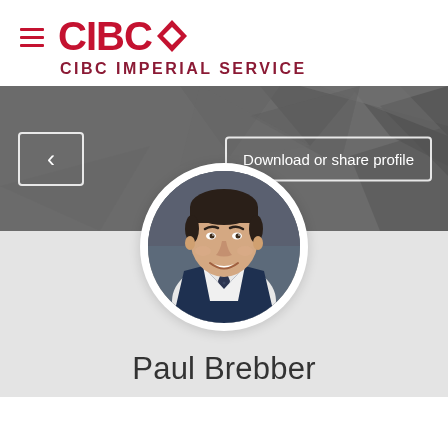[Figure (logo): CIBC logo with red wordmark and diamond shape, hamburger menu icon to the left]
CIBC IMPERIAL SERVICE
[Figure (screenshot): Dark grey banner with geometric triangle pattern, back arrow button on left, Download or share profile button on right]
[Figure (photo): Circular profile photo of Paul Brebber, a man in a suit and tie, smiling, with white circular border]
Paul Brebber